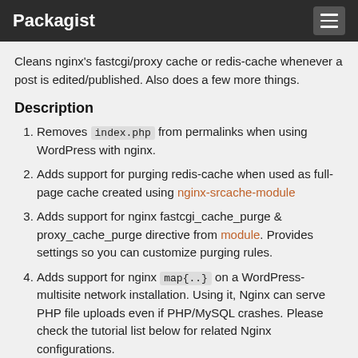Packagist
Cleans nginx's fastcgi/proxy cache or redis-cache whenever a post is edited/published. Also does a few more things.
Description
Removes index.php from permalinks when using WordPress with nginx.
Adds support for purging redis-cache when used as full-page cache created using nginx-srcache-module
Adds support for nginx fastcgi_cache_purge & proxy_cache_purge directive from module. Provides settings so you can customize purging rules.
Adds support for nginx map{..} on a WordPress-multisite network installation. Using it, Nginx can serve PHP file uploads even if PHP/MySQL crashes. Please check the tutorial list below for related Nginx configurations.
Tutorials